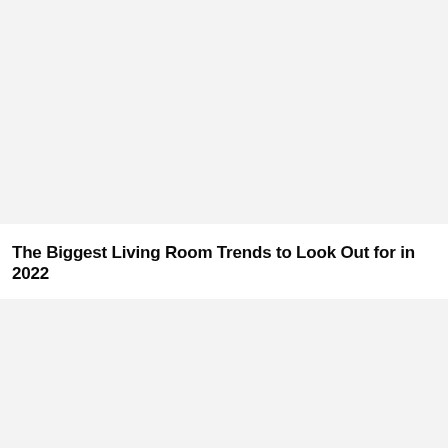[Figure (photo): Large placeholder image area at the top of the page, light gray background]
The Biggest Living Room Trends to Look Out for in 2022
[Figure (photo): Large placeholder image area at the bottom of the page, light gray background]